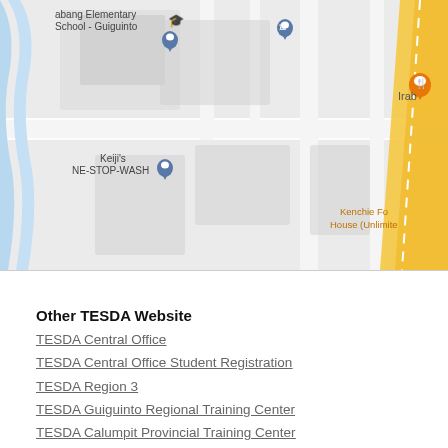[Figure (map): Google Maps screenshot showing streets near Guiguinto area. Labels include 'abang Elementary School - Guiguinto', 'Keiji's NE-STOP-WASH', 'Kenchie Fo House (Unlimite', and 'Irab'. A yellow diagonal road is visible on the right side. Blue river/canal on the left. Map pins and icons are visible.]
Other TESDA Website
TESDA Central Office
TESDA Central Office Student Registration
TESDA Region 3
TESDA Guiguinto Regional Training Center
TESDA Calumpit Provincial Training Center
Republic of the Philippines
Official Gazette
Official Directory
Official Calendar